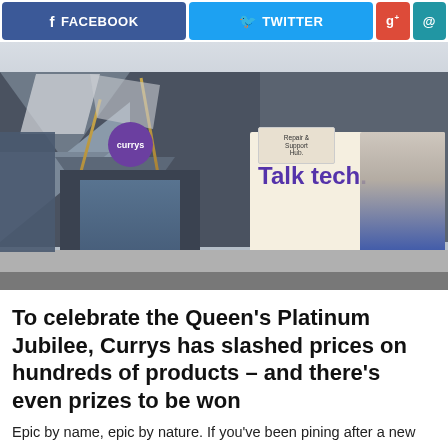[Figure (screenshot): Social media sharing buttons: Facebook (blue), Twitter (cyan), Google+ (red), Email (teal)]
[Figure (photo): Exterior photo of a Currys electronics retail store with a large billboard reading 'Talk tech.' and an employee in a blue uniform. The building has a modern geometric facade with triangular panels.]
To celebrate the Queen's Platinum Jubilee, Currys has slashed prices on hundreds of products – and there's even prizes to be won
Epic by name, epic by nature. If you've been pining after a new TV or a smart speaker, hold on – listen to the Currys